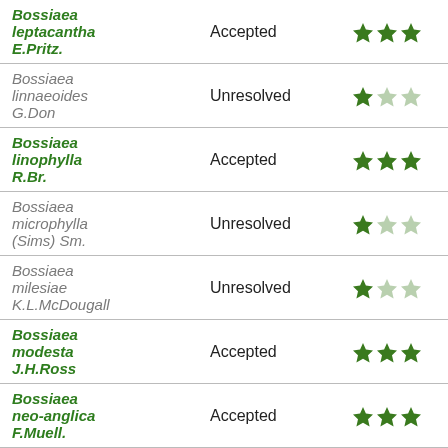| Name | Status | Rating |
| --- | --- | --- |
| Bossiaea leptacantha E.Pritz. | Accepted | ★★★ |
| Bossiaea linnaeoides G.Don | Unresolved | ★☆☆ |
| Bossiaea linophylla R.Br. | Accepted | ★★★ |
| Bossiaea microphylla (Sims) Sm. | Unresolved | ★☆☆ |
| Bossiaea milesiae K.L.McDougall | Unresolved | ★☆☆ |
| Bossiaea modesta J.H.Ross | Accepted | ★★★ |
| Bossiaea neo-anglica F.Muell. | Accepted | ★★★ |
| Bossiaea |  |  |